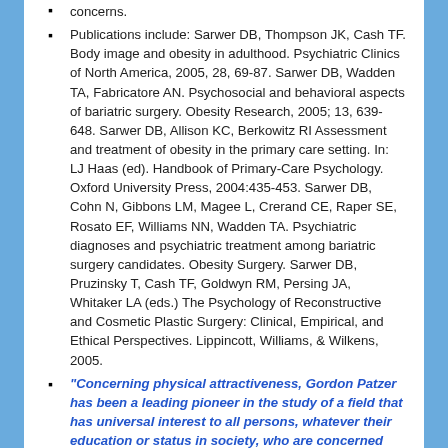concerns.
Publications include: Sarwer DB, Thompson JK, Cash TF. Body image and obesity in adulthood. Psychiatric Clinics of North America, 2005, 28, 69-87. Sarwer DB, Wadden TA, Fabricatore AN. Psychosocial and behavioral aspects of bariatric surgery. Obesity Research, 2005; 13, 639-648. Sarwer DB, Allison KC, Berkowitz RI Assessment and treatment of obesity in the primary care setting. In: LJ Haas (ed). Handbook of Primary-Care Psychology. Oxford University Press, 2004:435-453. Sarwer DB, Cohn N, Gibbons LM, Magee L, Crerand CE, Raper SE, Rosato EF, Williams NN, Wadden TA. Psychiatric diagnoses and psychiatric treatment among bariatric surgery candidates. Obesity Surgery. Sarwer DB, Pruzinsky T, Cash TF, Goldwyn RM, Persing JA, Whitaker LA (eds.) The Psychology of Reconstructive and Cosmetic Plastic Surgery: Clinical, Empirical, and Ethical Perspectives. Lippincott, Williams, & Wilkens, 2005.
“Concerning physical attractiveness, Gordon Patzer has been a leading pioneer in the study of a field that has universal interest to all persons, whatever their education or status in society, who are concerned with social interactions among humans, from the cradle to the grave. His scholarly